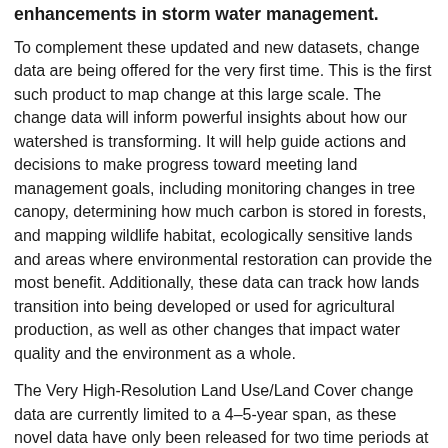enhancements in storm water management.
To complement these updated and new datasets, change data are being offered for the very first time. This is the first such product to map change at this large scale. The change data will inform powerful insights about how our watershed is transforming. It will help guide actions and decisions to make progress toward meeting land management goals, including monitoring changes in tree canopy, determining how much carbon is stored in forests, and mapping wildlife habitat, ecologically sensitive lands and areas where environmental restoration can provide the most benefit. Additionally, these data can track how lands transition into being developed or used for agricultural production, as well as other changes that impact water quality and the environment as a whole.
The Very High-Resolution Land Use/Land Cover change data are currently limited to a 4–5-year span, as these novel data have only been released for two time periods at this point.